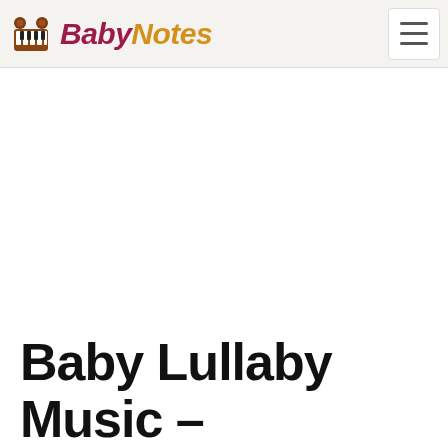BabyNotes
Baby Lullaby Music –